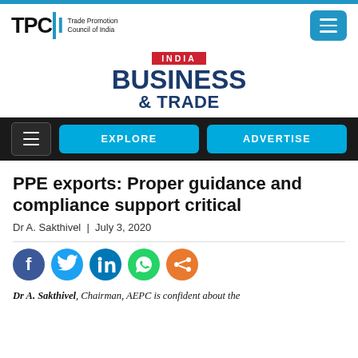[Figure (logo): TPCI - Trade Promotion Council of India logo with blue hamburger menu button]
[Figure (logo): India Business & Trade magazine logo with INDIA in red box and BUSINESS & TRADE in dark blue]
[Figure (screenshot): Navigation bar with hamburger icon, EXPLORE and ADVERTISE buttons in blue on black background]
PPE exports: Proper guidance and compliance support critical
Dr A. Sakthivel  |  July 3, 2020
[Figure (infographic): Social media share icons: Facebook, Twitter, LinkedIn, WhatsApp, Share]
Dr A. Sakthivel, Chairman, AEPC is confident about the